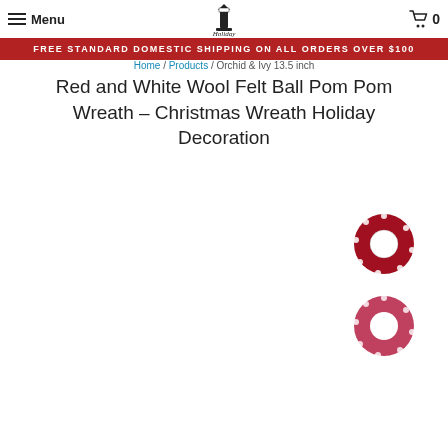Menu | The Holiday Way logo | Cart 0
Free Standard Domestic Shipping on All Orders Over $100
Home / Products / Orchid & Ivy 13.5 inch Red and White Wool Felt Ball Pom Pom Wreath - Christmas Wreath Holiday Decoration
Red and White Wool Felt Ball Pom Pom Wreath - Christmas Wreath Holiday Decoration
[Figure (photo): Small thumbnail image of a red wool felt ball pom pom wreath with white dots, circular/donut shape]
[Figure (photo): Small thumbnail image of a red wool felt ball pom pom wreath with white dots, circular/donut shape, slightly different angle]